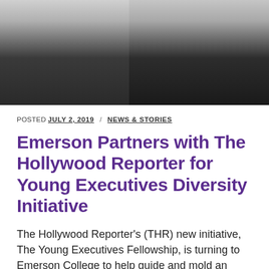[Figure (photo): Two men in business suits standing together, photographed from the chest up against a neutral background.]
POSTED JULY 2, 2019 / NEWS & STORIES
Emerson Partners with The Hollywood Reporter for Young Executives Diversity Initiative
The Hollywood Reporter's (THR) new initiative, The Young Executives Fellowship, is turning to Emerson College to help guide and mold an inclusive pipeline for future leaders in the entertainment industry, creating opportunities